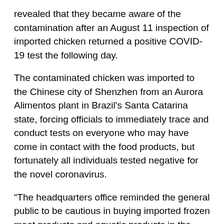revealed that they became aware of the contamination after an August 11 inspection of imported chicken returned a positive COVID-19 test the following day.
The contaminated chicken was imported to the Chinese city of Shenzhen from an Aurora Alimentos plant in Brazil's Santa Catarina state, forcing officials to immediately trace and conduct tests on everyone who may have come in contact with the food products, but fortunately all individuals tested negative for the novel coronavirus.
“The headquarters office reminded the general public to be cautious in buying imported frozen meat products and aquatic products in the near future, and to take personal protection to reduce the risk of contracting the new [coronavirus],” the final report read.